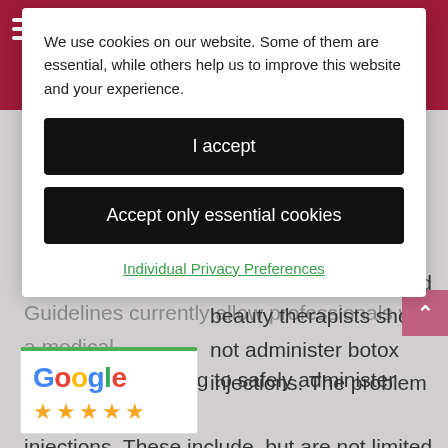re
ac
su
[Figure (screenshot): Cookie consent modal dialog with 'I accept' and 'Accept only essential cookies' buttons and an 'Individual Privacy Preferences' link in green]
Guidelines currently allow professionals with a medical background/training to safely administer botox injections. These include, but are not limited to dentists, doctors, medical nurses, dental hygienists.
[Figure (logo): Google logo with 5 orange stars rating widget]
tes that beauticians and beauty therapists should not administer botox injections. The problem